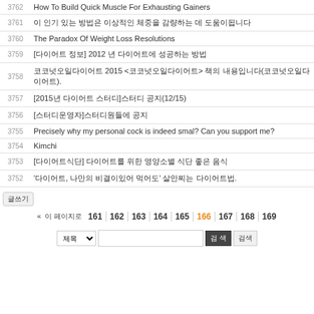| No | Title |
| --- | --- |
| 3762 | How To Build Quick Muscle For Exhausting Gainers |
| 3761 | [Korean text] |
| 3760 | The Paradox Of Weight Loss Resolutions |
| 3759 | [Korean text] 2012 [Korean text] |
| 3758 | [Korean text] 2015 <[Korean text]> [Korean text]([Korean text]). |
| 3757 | [2015[Korean]] [Korean text](12/15) |
| 3756 | [[Korean text]][Korean text] |
| 3755 | Precisely why my personal cock is indeed smal? Can you support me? |
| 3754 | Kimchi |
| 3753 | [[Korean text]] [Korean text] [Korean text] |
| 3752 | '[Korean text], [Korean text] [Korean text]' [Korean text] [Korean text]. |
글쓰기
« 이 페이지로 | 161 | 162 | 163 | 164 | 165 | 166 | 167 | 168 | 169